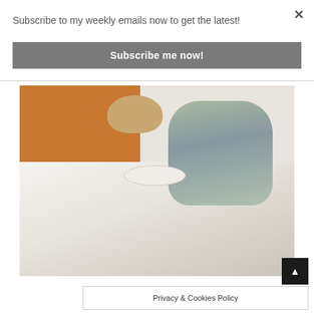Subscribe to my weekly emails now to get the latest!
×
Subscribe me now!
[Figure (photo): A young child in pajamas lying in a messy bed, holding a plate of food. An orange headboard is visible, along with stuffed animals and a tablet on the headboard shelf.]
▲
Privacy & Cookies Policy